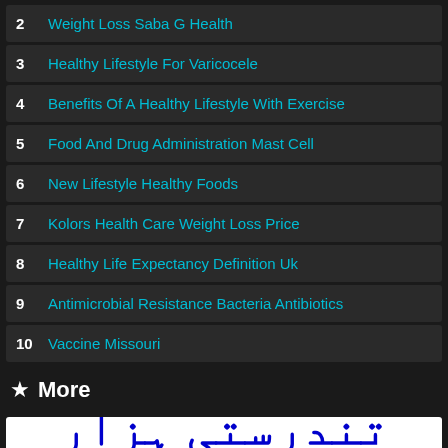2 Weight Loss Saba G Health
3 Healthy Lifestyle For Varicocele
4 Benefits Of A Healthy Lifestyle With Exercise
5 Food And Drug Administration Mast Cell
6 New Lifestyle Healthy Foods
7 Kolors Health Care Weight Loss Price
8 Healthy Life Expectancy Definition Uk
9 Antimicrobial Resistance Bacteria Antibiotics
10 Vaccine Missouri
★ More
[Figure (photo): Urdu text image showing 'تندرستی ہزار نعمت ہے' (Health is a thousand blessings) in dark blue bold Urdu script on white background, with red Urdu text partially visible below]